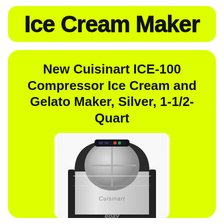Ice Cream Maker
New Cuisinart ICE-100 Compressor Ice Cream and Gelato Maker, Silver, 1-1/2-Quart
[Figure (photo): Photo of a Cuisinart ICE-100 stainless steel compressor ice cream and gelato maker with 'Cuisinart' branding on the front and 'ebay' watermark at bottom]